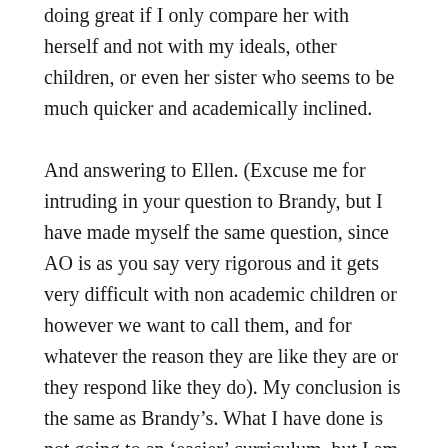doing great if I only compare her with herself and not with my ideals, other children, or even her sister who seems to be much quicker and academically inclined.

And answering to Ellen. (Excuse me for intruding in your question to Brandy, but I have made myself the same question, since AO is as you say very rigorous and it gets very difficult with non academic children or however we want to call them, and for whatever the reason they are like they are or they respond like they do). My conclusion is the same as Brandy’s. What I have done is not going to an ‘easier’ curriculum, but I am